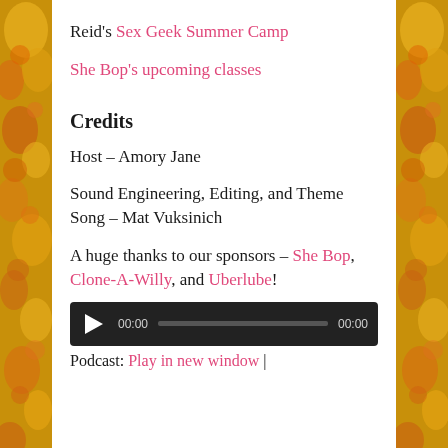Reid's Sex Geek Summer Camp
She Bop's upcoming classes
Credits
Host – Amory Jane
Sound Engineering, Editing, and Theme Song – Mat Vuksinich
A huge thanks to our sponsors – She Bop, Clone-A-Willy, and Uberlube!
[Figure (other): Audio player widget with play button, time display 00:00, progress bar, and end time 00:00 on dark background]
Podcast: Play in new window |